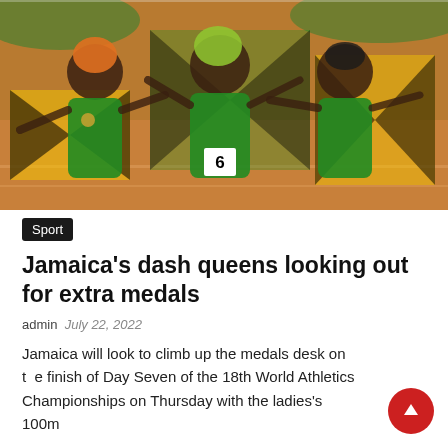[Figure (photo): Three Jamaican female sprinters celebrating on a running track, holding Jamaican flags (black, green, and gold), wearing green and yellow Jamaica athletic uniforms. One athlete in the center has green-highlighted hair; one on the left has orange hair. The athlete in the center wears a race bib with number 6.]
Sport
Jamaica's dash queens looking out for extra medals
admin   July 22, 2022
Jamaica will look to climb up the medals desk on the finish of Day Seven of the 18th World Athletics Championships on Thursday with the ladies's 100m